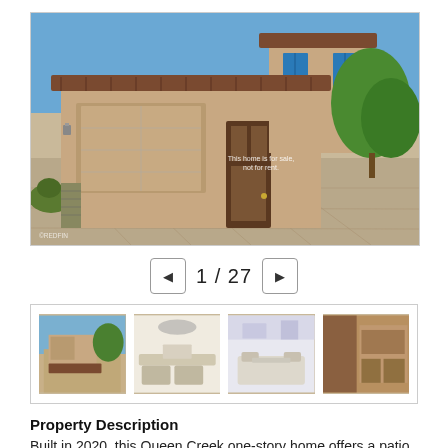[Figure (photo): Exterior front view of a two-story tan/beige stucco house with tile roof, two-car garage, paver driveway, and desert landscaping. Watermark reads: This home is for sale, not for rent.]
1 / 27
[Figure (photo): Row of four thumbnail photos of the property interior and exterior.]
Property Description
Built in 2020, this Queen Creek one-story home offers a patio, quartz countertops, and a two-car garage.